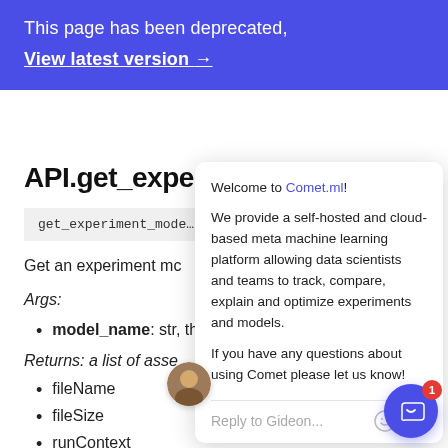This page has been deprecated,
View latest version →
API.get_experime...
get_experiment_mode... ey
Get an experiment mc...
Args:
model_name: str, the name of the model
Returns: a list of asse...
fileName
fileSize
runContext
[Figure (other): Chat popup overlay with Comet.ml welcome message and reply box, plus user avatar and chat button with badge]
Welcome to Comet.ml!
We provide a self-hosted and cloud-based meta machine learning platform allowing data scientists and teams to track, compare, explain and optimize experiments and models.
If you have any questions about using Comet please let us know!
Reply to Gideon...